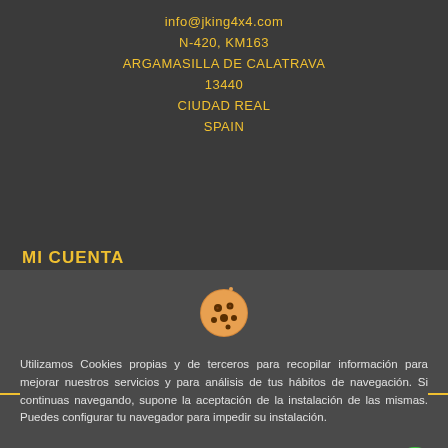info@jking4x4.com
N-420, KM163
ARGAMASILLA DE CALATRAVA
13440
CIUDAD REAL
SPAIN
MI CUENTA
INFORMACIÓN
[Figure (illustration): Cookie emoji icon]
Utilizamos Cookies propias y de terceros para recopilar información para mejorar nuestros servicios y para análisis de tus hábitos de navegación. Si continuas navegando, supone la aceptación de la instalación de las mismas. Puedes configurar tu navegador para impedir su instalación.
Accept | Accept selected | Reject